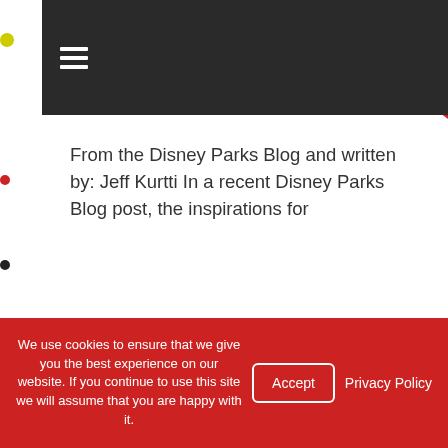[Figure (screenshot): Dark navigation bar with hamburger menu icon (three horizontal white lines)]
From the Disney Parks Blog and written by: Jeff Kurtti In a recent Disney Parks Blog post, the inspirations for
Read more
We use cookies to ensure that we give you the best experience on our website. If you continue to use this site we will assume that you are happy with it.
Accept
Privacy Policy